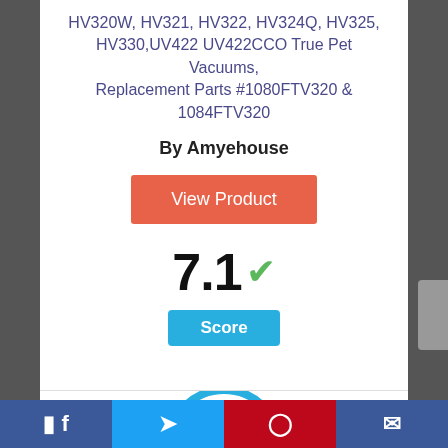HV320W, HV321, HV322, HV324Q, HV325, HV330,UV422 UV422CCO True Pet Vacuums, Replacement Parts #1080FTV320 & 1084FTV320
By Amyehouse
View Product
7.1 ✓
Score
[Figure (other): Partial circular badge showing the number 9, cut off at bottom of page]
Facebook | Twitter | Pinterest | Email